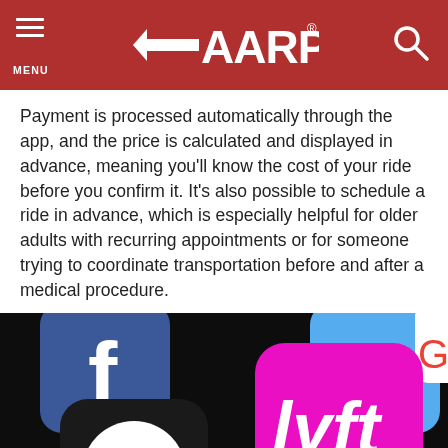MENU | AARP | Search
Payment is processed automatically through the app, and the price is calculated and displayed in advance, meaning you'll know the cost of your ride before you confirm it. It's also possible to schedule a ride in advance, which is especially helpful for older adults with recurring appointments or for someone trying to coordinate transportation before and after a medical procedure.
[Figure (photo): Close-up photograph of a smartphone screen showing app icons including Facebook (blue), Twitter (partially visible), Uber (black and white), and Lyft (pink/magenta) apps on a dark background.]